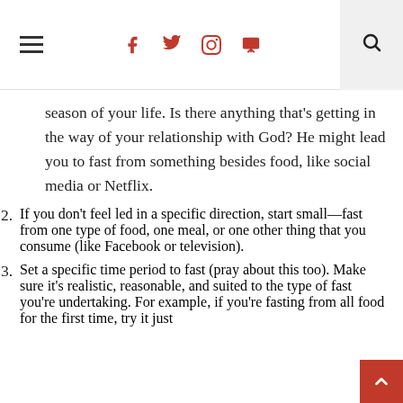Navigation bar with hamburger menu, social icons (f, twitter, pinterest, instagram), and search
season of your life. Is there anything that’s getting in the way of your relationship with God? He might lead you to fast from something besides food, like social media or Netflix.
2. If you don’t feel led in a specific direction, start small—fast from one type of food, one meal, or one other thing that you consume (like Facebook or television).
3. Set a specific time period to fast (pray about this too). Make sure it’s realistic, reasonable, and suited to the type of fast you’re undertaking. For example, if you’re fasting from all food for the first time, try it just